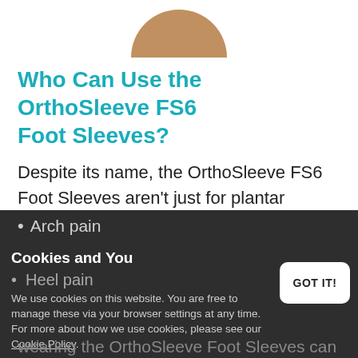[Figure (photo): Partial image of a foot/shoe in tan/brown color, cropped at top of page]
Who Can Use the OrthoSleeve FS6 Foot Sleeves?
Despite its name, the OrthoSleeve FS6 Foot Sleeves aren't just for plantar fasciitis. The supports can also be used for the following indications:
Arch pain
Heel pain
Cookies and You — We use cookies on this website. You are free to manage these via your browser settings at any time. For more about how we use cookies, please see our Cookie Policy.
wearing the OrthoSleeve Foot Sleeves can